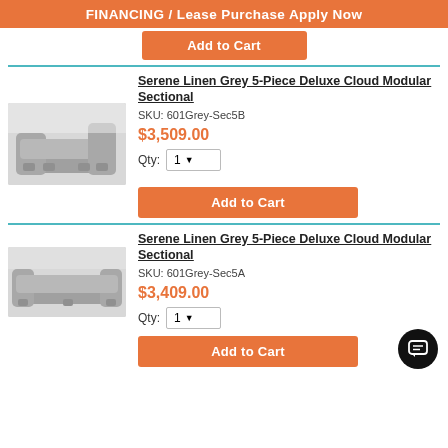FINANCING / Lease Purchase Apply Now
[Figure (other): Orange Add to Cart button, partially visible at top]
Serene Linen Grey 5-Piece Deluxe Cloud Modular Sectional
SKU: 601Grey-Sec5B
[Figure (photo): Grey L-shaped modular sectional sofa in a white room]
$3,509.00
Qty: 1
[Figure (other): Orange Add to Cart button]
Serene Linen Grey 5-Piece Deluxe Cloud Modular Sectional
SKU: 601Grey-Sec5A
[Figure (photo): Grey modular sectional sofa, 5-piece, viewed from slightly above]
$3,409.00
Qty: 1
[Figure (other): Orange Add to Cart button]